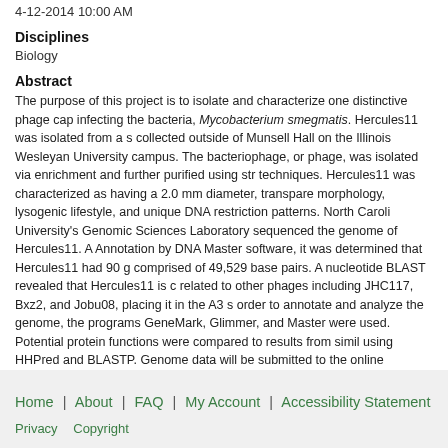4-12-2014 10:00 AM
Disciplines
Biology
Abstract
The purpose of this project is to isolate and characterize one distinctive phage capable of infecting the bacteria, Mycobacterium smegmatis. Hercules11 was isolated from a soil sample collected outside of Munsell Hall on the Illinois Wesleyan University campus. The bacteriophage, or phage, was isolated via enrichment and further purified using streak techniques. Hercules11 was characterized as having a 2.0 mm diameter, transparent morphology, lysogenic lifestyle, and unique DNA restriction patterns. North Carolina State University's Genomic Sciences Laboratory sequenced the genome of Hercules11. After Annotation by DNA Master software, it was determined that Hercules11 had 90 genes and is comprised of 49,529 base pairs. A nucleotide BLAST revealed that Hercules11 is closely related to other phages including JHC117, Bxz2, and Jobu08, placing it in the A3 subcluster. In order to annotate and analyze the genome, the programs GeneMark, Glimmer, and DNA Master were used. Potential protein functions were compared to results from similar analyses using HHPred and BLASTP. Genome data will be submitted to the online Mycobacteriophage Database. Upon completion, the annotated genome will be submitted to GenBank and the DNA database.
Home | About | FAQ | My Account | Accessibility Statement Privacy Copyright